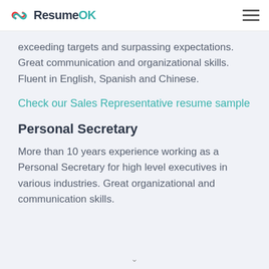ResumeOK
exceeding targets and surpassing expectations. Great communication and organizational skills. Fluent in English, Spanish and Chinese.
Check our Sales Representative resume sample
Personal Secretary
More than 10 years experience working as a Personal Secretary for high level executives in various industries. Great organizational and communication skills.